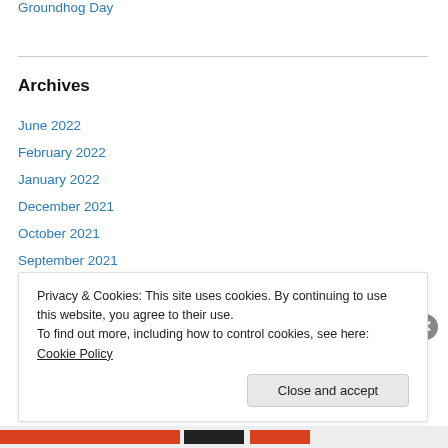Groundhog Day
Archives
June 2022
February 2022
January 2022
December 2021
October 2021
September 2021
July 2021
June 2021
Privacy & Cookies: This site uses cookies. By continuing to use this website, you agree to their use. To find out more, including how to control cookies, see here: Cookie Policy
Close and accept